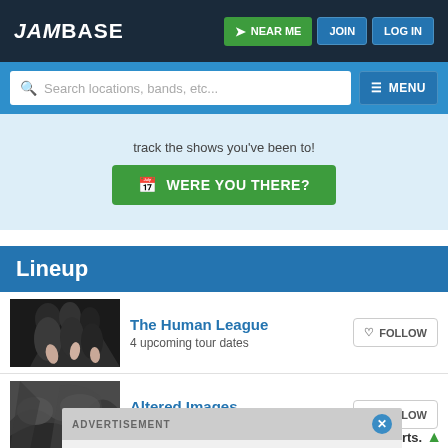JamBase | NEAR ME | JOIN | LOG IN
Search locations, bands, etc... MENU
track the shows you've been to!
WERE YOU THERE?
Lineup
The Human League
4 upcoming tour dates
FOLLOW
[Figure (photo): Black and white photo of The Human League performers]
Altered Images
9 upcoming tour dates
FOLLOW
[Figure (photo): Black and white photo of Altered Images]
ADVERTISEMENT
rts.